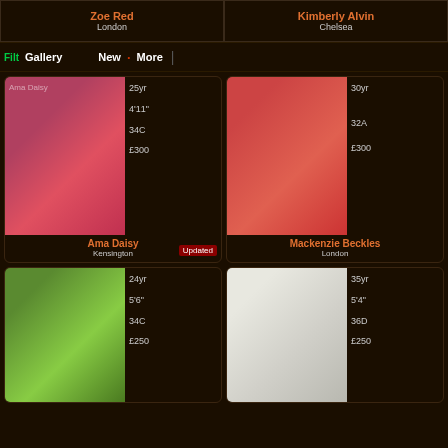Zoe Red
London
Kimberly Alvin
Chelsea
Gallery | New | More
[Figure (photo): Profile photo of Ama Daisy in red lingerie]
25yr
4'11"
34C
£300
Updated
Ama Daisy
Kensington
[Figure (photo): Profile photo of Mackenzie Beckles in red robe]
30yr
32A
£300
Mackenzie Beckles
London
[Figure (photo): Profile photo in green outfit]
24yr
5'6"
34C
£250
[Figure (photo): Profile photo in white dress]
35yr
5'4"
36D
£250